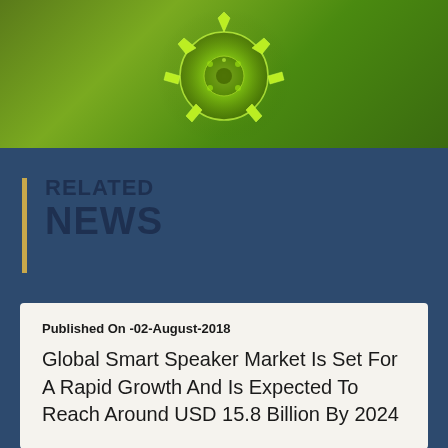[Figure (illustration): Green glowing virus/coronavirus illustration on olive-green gradient background]
RELATED NEWS
Published On -02-August-2018
Global Smart Speaker Market Is Set For A Rapid Growth And Is Expected To Reach Around USD 15.8 Billion By 2024